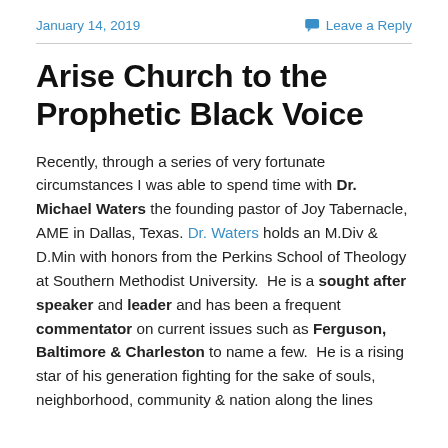January 14, 2019    Leave a Reply
Arise Church to the Prophetic Black Voice
Recently, through a series of very fortunate circumstances I was able to spend time with Dr. Michael Waters the founding pastor of Joy Tabernacle, AME in Dallas, Texas.  Dr. Waters holds an M.Div & D.Min with honors from the Perkins School of Theology at Southern Methodist University.  He is a sought after speaker and leader and has been a frequent commentator on current issues such as Ferguson, Baltimore & Charleston to name a few.  He is a rising star of his generation fighting for the sake of souls, neighborhood, community & nation along the lines